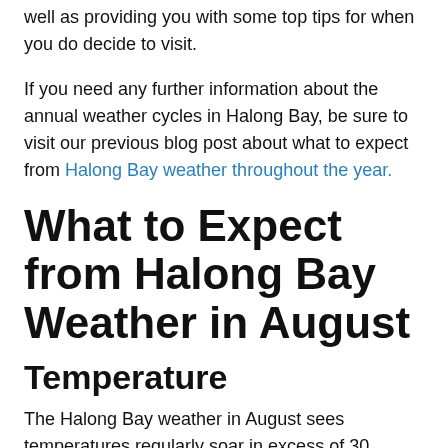well as providing you with some top tips for when you do decide to visit.
If you need any further information about the annual weather cycles in Halong Bay, be sure to visit our previous blog post about what to expect from Halong Bay weather throughout the year.
What to Expect from Halong Bay Weather in August
Temperature
The Halong Bay weather in August sees temperatures regularly soar in excess of 30